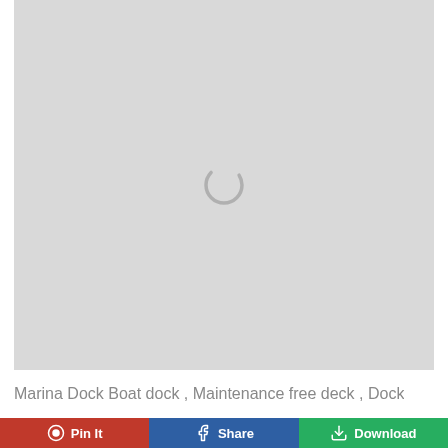[Figure (photo): A loading spinner (gray circular arc) centered on a light gray background placeholder image area.]
Marina Dock Boat dock , Maintenance free deck , Dock
Pin It
Share
Download